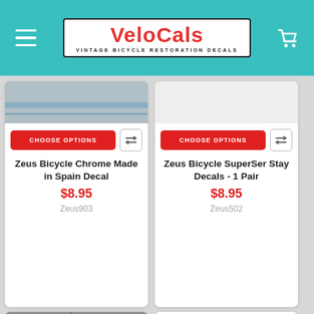[Figure (logo): VeloCals - Vintage Bicycle Restoration Decals logo in white box with red text on teal header]
Zeus Bicycle Chrome Made in Spain Decal
$8.95
Zeus903
Zeus Bicycle SuperSer Stay Decals - 1 Pair
$8.95
Zeus502
[Figure (photo): Zeus bicycle decal stickers showing 'zeus' text in white italic on dark background, two columns]
[Figure (photo): Zeus bicycle pinstripe decals - horizontal stripes in gold/yellow and teal/green on grey background]